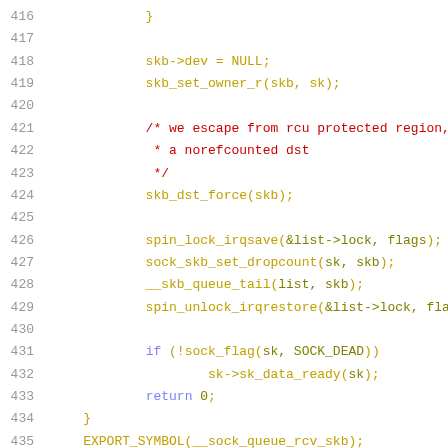Code listing lines 416-436, C source code snippet showing socket buffer queue operations including spin_lock_irqsave, sock_skb_set_dropcount, __skb_queue_tail, spin_unlock_irqrestore, and EXPORT_SYMBOL(__sock_queue_rcv_skb)